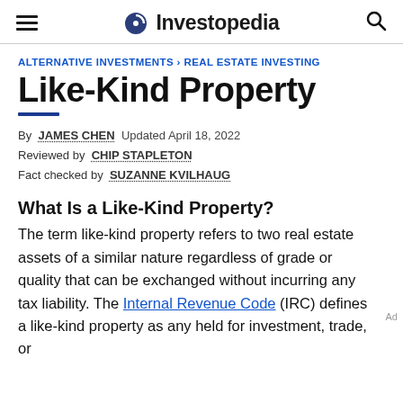Investopedia
ALTERNATIVE INVESTMENTS > REAL ESTATE INVESTING
Like-Kind Property
By JAMES CHEN Updated April 18, 2022
Reviewed by CHIP STAPLETON
Fact checked by SUZANNE KVILHAUG
What Is a Like-Kind Property?
The term like-kind property refers to two real estate assets of a similar nature regardless of grade or quality that can be exchanged without incurring any tax liability. The Internal Revenue Code (IRC) defines a like-kind property as any held for investment, trade, or